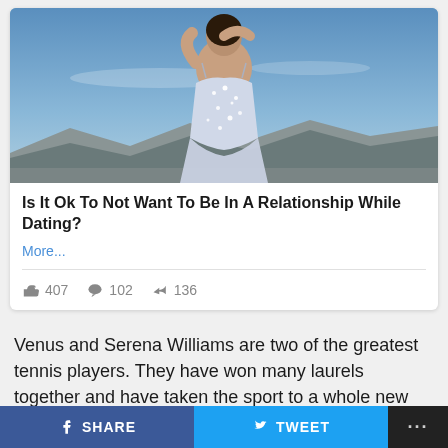[Figure (photo): Woman in sparkly white/silver backless dress facing away from camera, against a blue sky and mountain horizon background]
Is It Ok To Not Want To Be In A Relationship While Dating?
More...
👍 407  💬 102  ↪ 136
Venus and Serena Williams are two of the greatest tennis players. They have won many laurels together and have taken the sport to a whole new level. Interestingly, both of them love hanging out with each other whenever they
SHARE   TWEET   ...